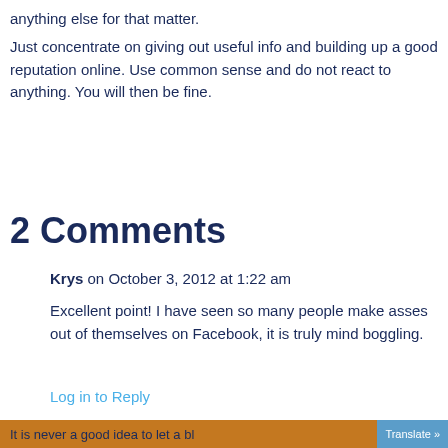anything else for that matter.
Just concentrate on giving out useful info and building up a good reputation online. Use common sense and do not react to anything. You will then be fine.
2 Comments
Krys on October 3, 2012 at 1:22 am
Excellent point! I have seen so many people make asses out of themselves on Facebook, it is truly mind boggling.
Log in to Reply
[Figure (other): Blue Contact button overlay]
It is never a good idea to let a bl